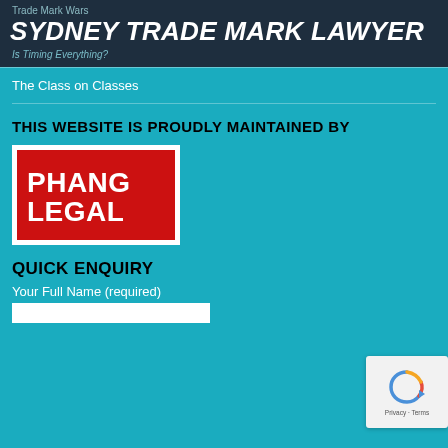Trade Mark Wars
SYDNEY TRADE MARK LAWYER
Is Timing Everything?
The Class on Classes
THIS WEBSITE IS PROUDLY MAINTAINED BY
[Figure (logo): Phang Legal logo — red square on white background with text PHANG LEGAL in white bold letters]
QUICK ENQUIRY
Your Full Name (required)